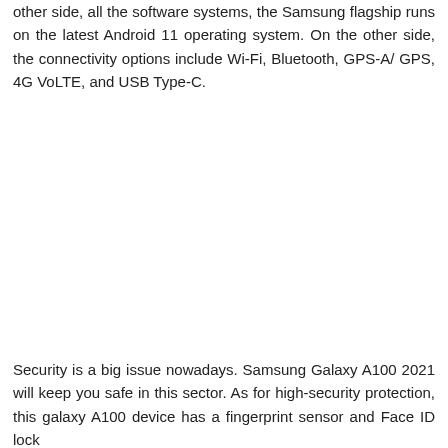other side, all the software systems, the Samsung flagship runs on the latest Android 11 operating system. On the other side, the connectivity options include Wi-Fi, Bluetooth, GPS-A/ GPS, 4G VoLTE, and USB Type-C.
Security is a big issue nowadays. Samsung Galaxy A100 2021 will keep you safe in this sector. As for high-security protection, this galaxy A100 device has a fingerprint sensor and Face ID lock